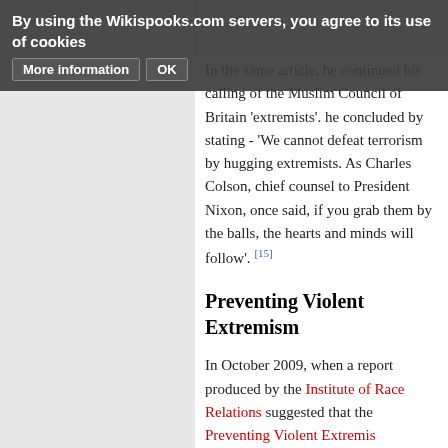By using the Wikispooks.com servers, you agree to its use of cookies   More information   OK
In the same article, he continued his calling of the Muslim Council of Britain 'extremists'. he concluded by stating - 'We cannot defeat terrorism by hugging extremists. As Charles Colson, chief counsel to President Nixon, once said, if you grab them by the balls, the hearts and minds will follow'. [15]
Preventing Violent Extremism
In October 2009, when a report produced by the Institute of Race Relations suggested that the Preventing Violent Extremis…